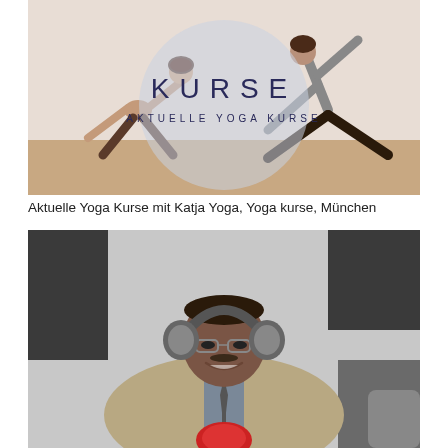[Figure (photo): Yoga class promotional image with two people in yoga poses on a wooden floor. A large translucent circle overlays the center with the text 'KURSE' in dark blue capital letters and below it 'AKTUELLE YOGA KURSE' in smaller spaced capital letters.]
Aktuelle Yoga Kurse mit Katja Yoga, Yoga kurse, München
[Figure (photo): A smiling man wearing headphones and glasses, seated at a microphone with a red windscreen in what appears to be a radio studio. He is wearing a beige/tan blazer and tie.]